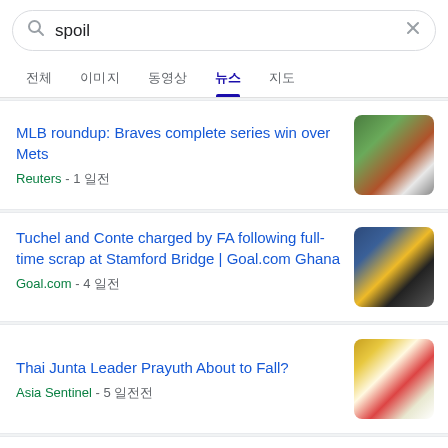[Figure (screenshot): Google search bar with query 'spoil']
MLB roundup: Braves complete series win over Mets
Reuters - 1 일전
Tuchel and Conte charged by FA following full-time scrap at Stamford Bridge | Goal.com Ghana
Goal.com - 4 일전
Thai Junta Leader Prayuth About to Fall?
Asia Sentinel - 5 일전전
VAR official Mike Dean admits making